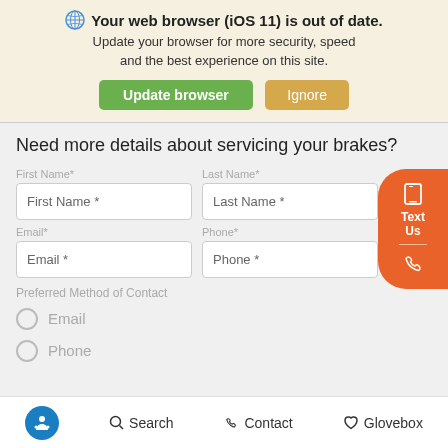Your web browser (iOS 11) is out of date. Update your browser for more security, speed and the best experience on this site.
Update browser | Ignore
Need more details about servicing your brakes?
First Name* | Last Name* | Email* | Phone*
Preferred Method of Contact
Email
Phone
accessibility | Search | Contact | Glovebox